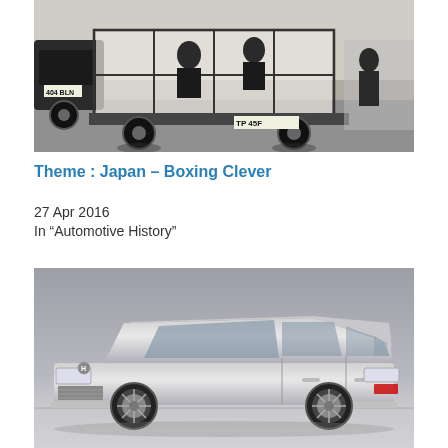[Figure (photo): Black and white photograph of a transparent/glass-walled vehicle or exhibit on wheels with license plate TP 45F, with people visible inside and a car with plate 404 BLN in background]
Theme : Japan – Boxing Clever
27 Apr 2016
In "Automotive History"
[Figure (photo): Color promotional photograph of a silver Honda Accord wagon/estate car on a grey studio background]